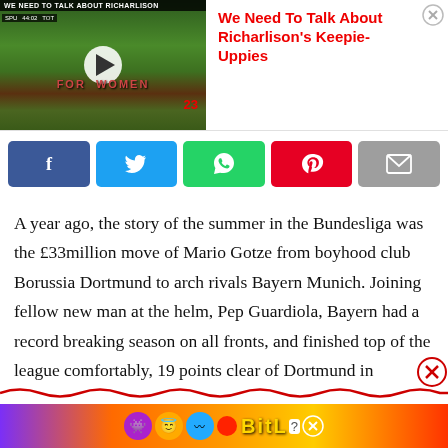[Figure (screenshot): Video thumbnail showing a soccer/football player doing keepie-uppies on a pitch, with title bar reading 'WE NEED TO TALK ABOUT RICHARLISON']
We Need To Talk About Richarlison's Keepie-Uppies
[Figure (infographic): Social share buttons: Facebook, Twitter, WhatsApp, Pinterest, Email]
A year ago, the story of the summer in the Bundesliga was the £33million move of Mario Gotze from boyhood club Borussia Dortmund to arch rivals Bayern Munich. Joining fellow new man at the helm, Pep Guardiola, Bayern had a record breaking season on all fronts, and finished top of the league comfortably, 19 points clear of Dortmund in
[Figure (infographic): Bottom advertisement banner with colorful background and BitLife text/logo]